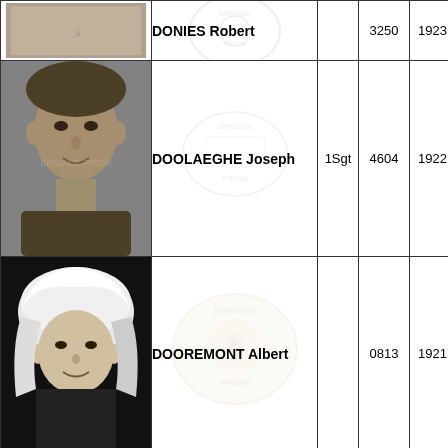| Photo | Name | Rank | Number | Year |
| --- | --- | --- | --- | --- |
| [photo] | DONIES Robert |  | 3250 | 1923 |
| [photo] | DOOLAEGHE Joseph | 1Sgt | 4604 | 1922 |
| [photo] | DOOREMONT Albert |  | 0813 | 1921 |